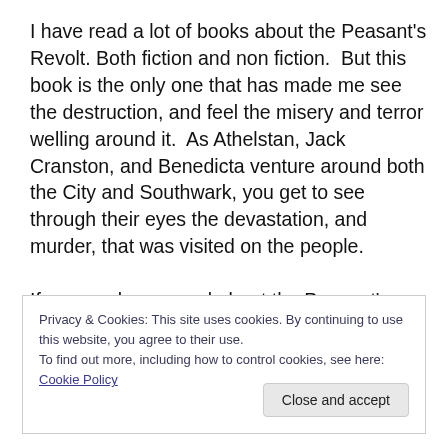I have read a lot of books about the Peasant's Revolt. Both fiction and non fiction.  But this book is the only one that has made me see the destruction, and feel the misery and terror welling around it.  As Athelstan, Jack Cranston, and Benedicta venture around both the City and Southwark, you get to see through their eyes the devastation, and murder, that was visited on the people.

If you read one novel about the Peasant's Revolt this year,
Privacy & Cookies: This site uses cookies. By continuing to use this website, you agree to their use.
To find out more, including how to control cookies, see here: Cookie Policy